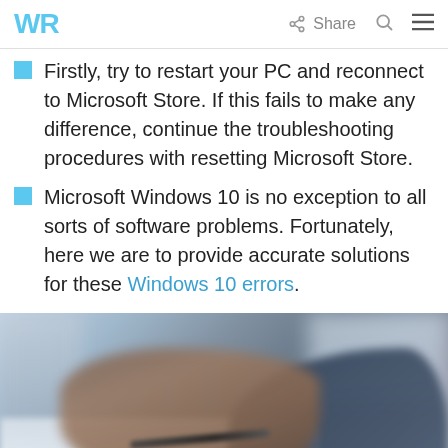WR  Share
Firstly, try to restart your PC and reconnect to Microsoft Store. If this fails to make any difference, continue the troubleshooting procedures with resetting Microsoft Store.
Microsoft Windows 10 is no exception to all sorts of software problems. Fortunately, here we are to provide accurate solutions for these Windows 10 errors.
[Figure (photo): Blurred photo of a person's hand holding a pen over paper, with a laptop visible in the background]